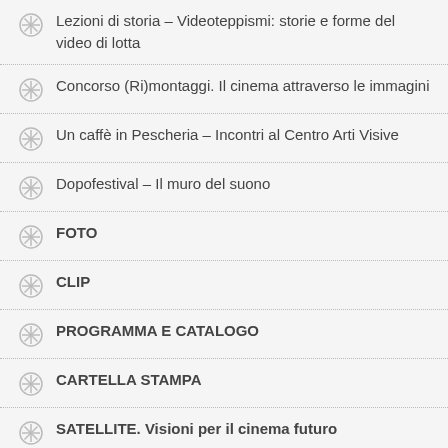Lezioni di storia – Videoteppismi: storie e forme del video di lotta
Concorso (Ri)montaggi. Il cinema attraverso le immagini
Un caffè in Pescheria – Incontri al Centro Arti Visive
Dopofestival – Il muro del suono
FOTO
CLIP
PROGRAMMA E CATALOGO
CARTELLA STAMPA
SATELLITE. Visioni per il cinema futuro